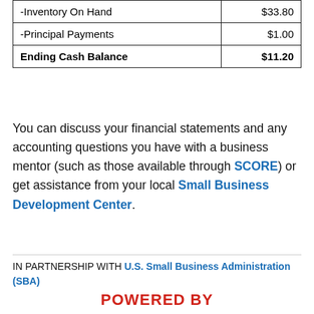| -Inventory On Hand | $33.80 |
| -Principal Payments | $1.00 |
| Ending Cash Balance | $11.20 |
You can discuss your financial statements and any accounting questions you have with a business mentor (such as those available through SCORE) or get assistance from your local Small Business Development Center.
IN PARTNERSHIP WITH U.S. Small Business Administration (SBA)
POWERED BY